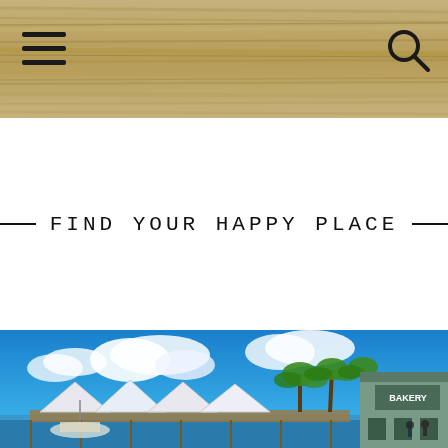[Figure (photo): Website header with wood texture background, hamburger menu icon on left and search icon on right]
— FIND YOUR HAPPY PLACE—
[Figure (photo): Tropical marina scene with white tent canopies, palm trees, blue sky with clouds, and a bakery building on the right side]